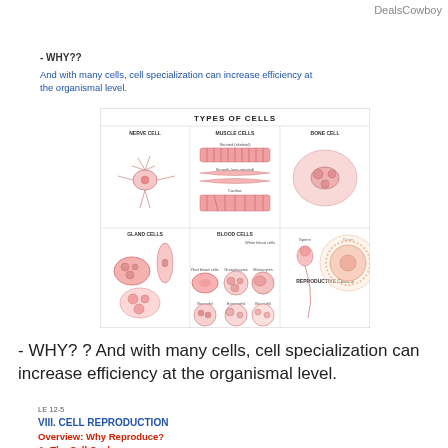DealsCowboy
- WHY??
And with many cells, cell specialization can increase efficiency at the organismal level.
[Figure (illustration): Diagram titled 'TYPES OF CELLS' showing illustrations of different cell types: Nerve Cell, Muscle Cells (striated skeletal, smooth/cardiac), Bone Cell, Gland Cells, Blood Cells (red blood cells, granulocytes, monocytes, basophils, eosinophils, basophils), and Reproductive Cells (sperm and ovum).]
- WHY? ? And with many cells, cell specialization can increase efficiency at the organismal level.
LE 12-5
VIII. CELL REPRODUCTION
Overview:  Why Reproduce?
A. The Cell Cycle